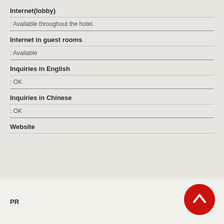Internet(lobby)
: Available throughout the hotel.
Internet in guest rooms
: Available
Inquiries in English
: OK
Inquiries in Chinese
: OK
Website
PR